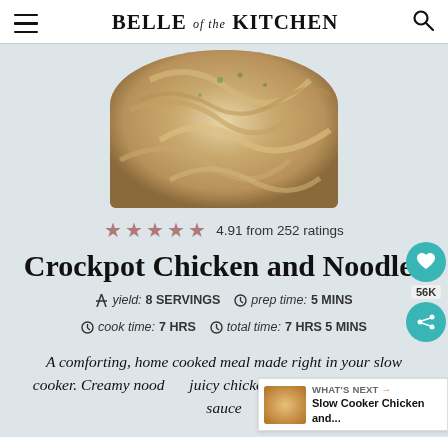BELLE of the KITCHEN
[Figure (photo): A plate of creamy crockpot chicken and noodles garnished with herbs, served on a light blue plate.]
4.91 from 252 ratings
Crockpot Chicken and Noodles
yield: 8 SERVINGS  prep time: 5 MINS  cook time: 7 HRS  total time: 7 HRS 5 MINS
A comforting, home cooked meal made right in your slow cooker. Creamy noodles, juicy chicken are cooked in a savory sauce